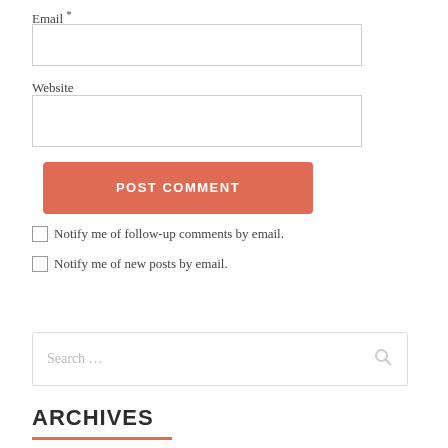Email *
Website
POST COMMENT
Notify me of follow-up comments by email.
Notify me of new posts by email.
Search …
ARCHIVES